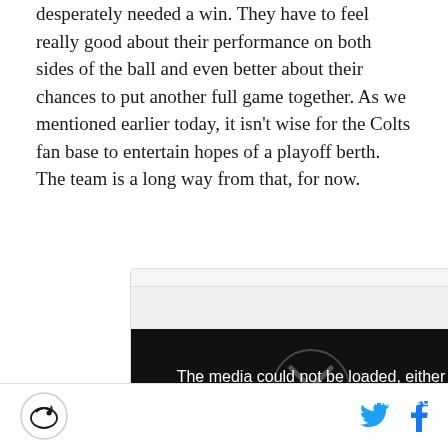desperately needed a win. They have to feel really good about their performance on both sides of the ball and even better about their chances to put another full game together. As we mentioned earlier today, it isn't wise for the Colts fan base to entertain hopes of a playoff berth. The team is a long way from that, for now.
[Figure (other): AD label with video player showing error message: 'The media could not be loaded, either because the server or network failed or']
SB Nation logo | Twitter icon | Facebook icon